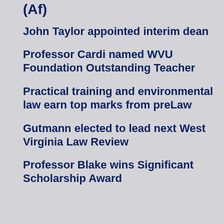(Af)
John Taylor appointed interim dean
Professor Cardi named WVU Foundation Outstanding Teacher
Practical training and environmental law earn top marks from preLaw
Gutmann elected to lead next West Virginia Law Review
Professor Blake wins Significant Scholarship Award